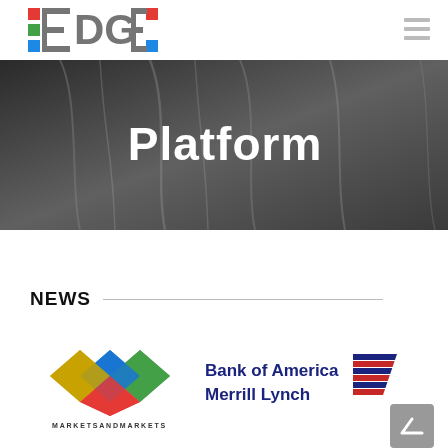[Figure (logo): EDGE3 logo with colored squares on left side and text EDGE3]
[Figure (other): Hamburger menu icon (three horizontal lines)]
[Figure (photo): Hero banner showing dark gray fabric folds with the word Platform in white bold text overlaid]
NEWS
[Figure (logo): MarketsandMarkets logo with diamond pattern in blue, gold, red, and green colors, and MARKETSANDMARKETS text below]
[Figure (logo): Bank of America Merrill Lynch logo with blue text and striped flag icon]
[Figure (other): Gray scroll-to-top button with upward arrow]